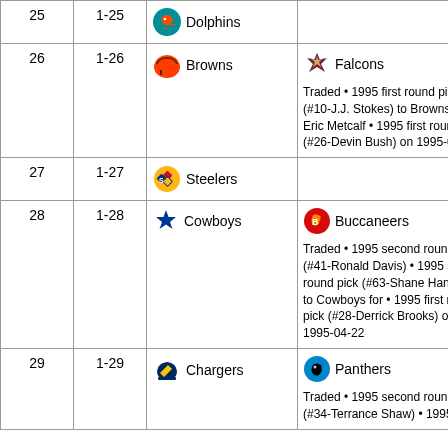| # | Pick | Team | Trade Info |
| --- | --- | --- | --- |
| 25 | 1-25 | Dolphins |  |
| 26 | 1-26 | Browns | Falcons
Traded • 1995 first round pick (#10-J.J. Stokes) to Browns for • Eric Metcalf • 1995 first round pick (#26-Devin Bush) on 1995-03-25 |
| 27 | 1-27 | Steelers |  |
| 28 | 1-28 | Cowboys | Buccaneers
Traded • 1995 second round pick (#41-Ronald Davis) • 1995 second round pick (#63-Shane Hannah) to Cowboys for • 1995 first round pick (#28-Derrick Brooks) on 1995-04-22 |
| 29 | 1-29 | Chargers | Panthers
Traded • 1995 second round pick (#34-Terrance Shaw) • 1995 third |